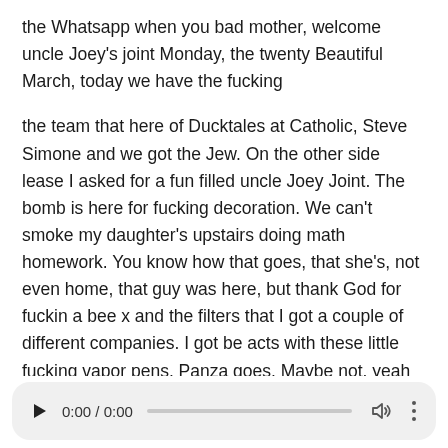the Whatsapp when you bad mother, welcome uncle Joey's joint Monday, the twenty Beautiful March, today we have the fucking
the team that here of Ducktales at Catholic, Steve Simone and we got the Jew. On the other side lease I asked for a fun filled uncle Joey Joint. The bomb is here for fucking decoration. We can't smoke my daughter's upstairs doing math homework. You know how that goes, that she's, not even home, that guy was here, but thank God for fuckin a bee x and the filters that I got a couple of different companies. I got be acts with these little fucking vapor pens. Panza goes. Maybe not. yeah hmm. What time is Monday morning, what a fuckin bang toxic is least go. How
[Figure (other): Audio player widget with play button, time display 0:00 / 0:00, progress bar, volume icon, and more options icon]